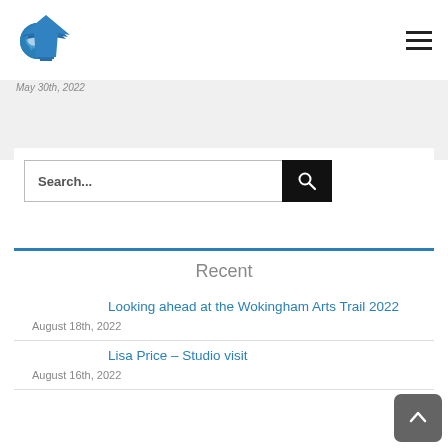[Figure (logo): Blue arrow/globe logo pointing right with world map overlay]
[Figure (other): Hamburger menu icon (three horizontal lines)]
May 30th, 2022
[Figure (other): Search input field with black search button containing magnifying glass icon]
Recent
Looking ahead at the Wokingham Arts Trail 2022
August 18th, 2022
Lisa Price – Studio visit
August 16th, 2022